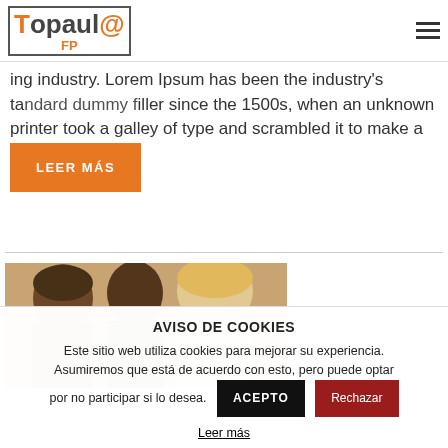TOP AULA FP — navigation header with logo and hamburger menu
ing industry. Lorem Ipsum has been the industry's standard dummy filler since the 1500s, when an unknown printer took a galley of type and scrambled it to make a …
LEER MÁS
[Figure (photo): Students bending over work, multiple people including a woman with dark skin and a blonde woman]
AVISO DE COOKIES
Este sitio web utiliza cookies para mejorar su experiencia. Asumiremos que está de acuerdo con esto, pero puede optar por no participar si lo desea.
ACEPTO
Rechazar
Leer más